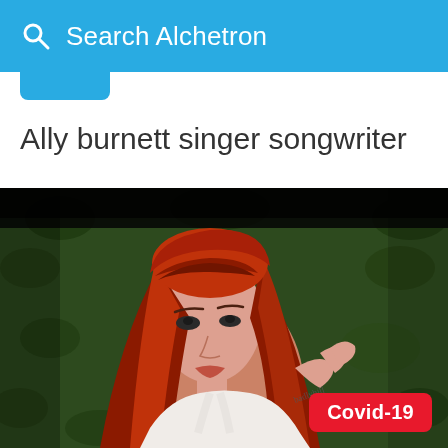Search Alchetron
Ally burnett singer songwriter
[Figure (photo): Young woman with long red hair wearing a white halter top, lying against a green leafy background, with tattoos visible on her arm.]
Covid-19